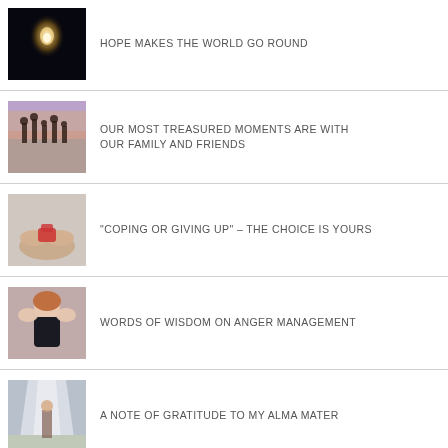HOPE MAKES THE WORLD GO ROUND
OUR MOST TREASURED MOMENTS ARE WITH OUR FAMILY AND FRIENDS
"COPING OR GIVING UP" – THE CHOICE IS YOURS
WORDS OF WISDOM ON ANGER MANAGEMENT
A NOTE OF GRATITUDE TO MY ALMA MATER
Privacy & Cookies: This site uses cookies. By continuing to use this website, you agree to their use.
To find out more, including how to control cookies, see here: Cookie Policy
Close and accept